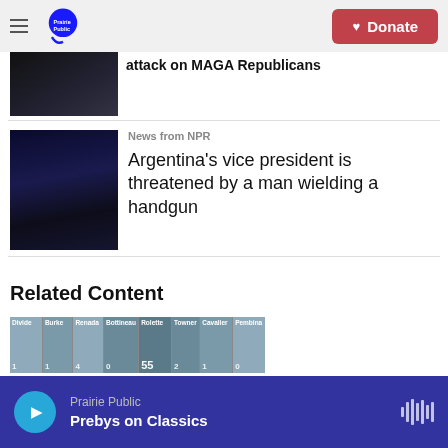Prairie Public | Donate
[Figure (photo): Partial news article thumbnail showing dark figures, headline partially visible: 'attack on MAGA Republicans']
attack on MAGA Republicans
[Figure (photo): Police/security forces at night scene - Argentina vice president story]
News from NPR
Argentina's vice president is threatened by a man wielding a handgun
Related Content
[Figure (infographic): Horizontal bar/map graphic with location labels: Divide 1, Burke 1, Renada 4, Bottineau 0, Rolette 55, Towner 2, Cavalier 1, Pembina 0]
Prairie Public | Prebys on Classics